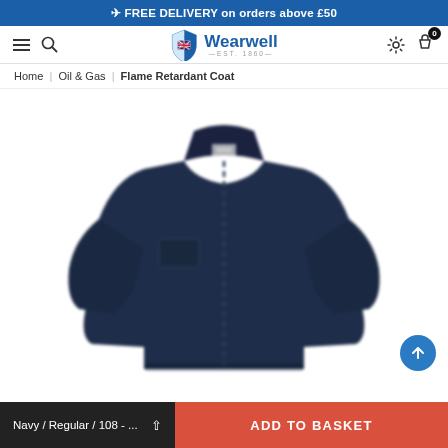✈ FREE DELIVERY on orders above £50
Wearwell EST. 1860 — navigation bar with search, settings, and cart (0)
Home | Oil & Gas | Flame Retardant Coat
[Figure (photo): Navy blue flame retardant coat product photo on white background — long sleeve workwear jacket in dark navy fabric]
Navy / Regular / 108 - ...  ADD TO BASKET